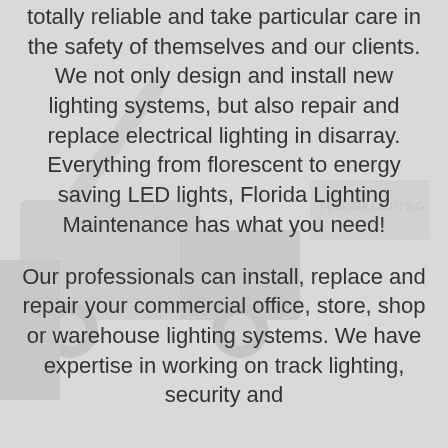totally reliable and take particular care in the safety of themselves and our clients. We not only design and install new lighting systems, but also repair and replace electrical lighting in disarray. Everything from florescent to energy saving LED lights, Florida Lighting Maintenance has what you need!
Our professionals can install, replace and repair your commercial office, store, shop or warehouse lighting systems. We have expertise in working on track lighting, security and